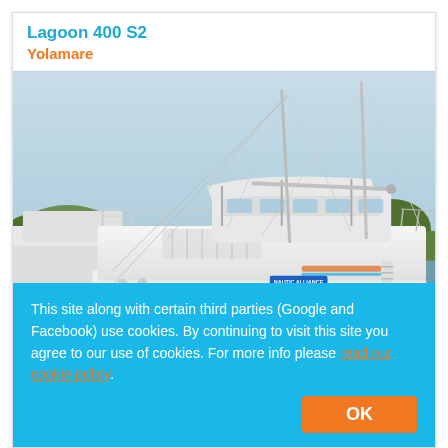Lagoon 400 S2
Yolamare
[Figure (photo): Photo of a Lagoon 400 S2 catamaran named Yolamare docked at a marina. The white catamaran is moored at a wooden dock with masts, rigging, a bimini canopy, and the hull markings '400 S2'. Other boats and green trees are visible in the background, with calm water reflecting the scene.]
This site along with certain third parties (Google and Facebook) use cookies. By continuing to visit this site you agree to our use of cookies. For more info please read our cookie policy.
OK